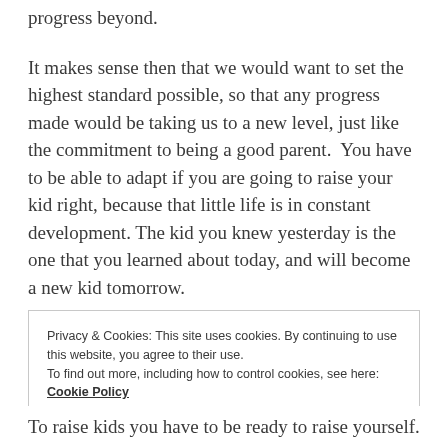progress beyond.
It makes sense then that we would want to set the highest standard possible, so that any progress made would be taking us to a new level, just like the commitment to being a good parent.  You have to be able to adapt if you are going to raise your kid right, because that little life is in constant development. The kid you knew yesterday is the one that you learned about today, and will become a new kid tomorrow.
Privacy & Cookies: This site uses cookies. By continuing to use this website, you agree to their use.
To find out more, including how to control cookies, see here: Cookie Policy
Close and accept
To raise kids you have to be ready to raise yourself.